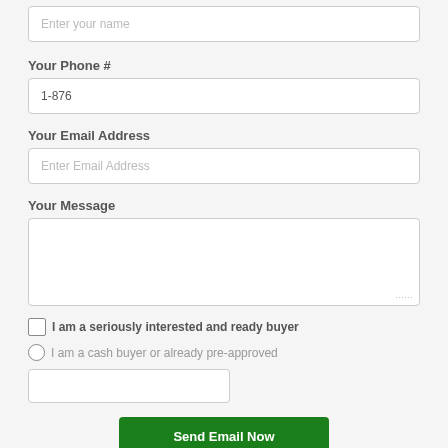Enter your name
Your Phone #
1-876
Your Email Address
Enter Email Address
Your Message
I am a seriously interested and ready buyer
I am a cash buyer or already pre-approved
Send Email Now